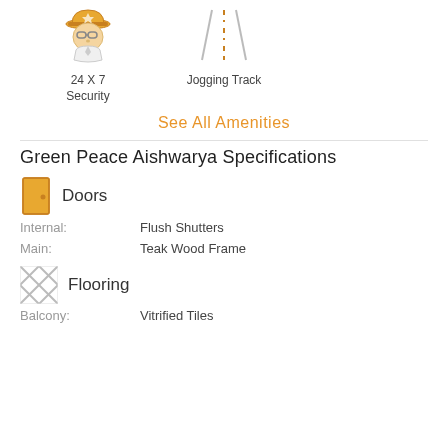[Figure (illustration): Icon of a security guard (person with cap and goggles)]
24 X 7 Security
[Figure (illustration): Icon of a jogging track (road with dashed center line)]
Jogging Track
See All Amenities
Green Peace Aishwarya Specifications
[Figure (illustration): Icon of a door (yellow/orange door with handle)]
Doors
Internal: Flush Shutters
Main: Teak Wood Frame
[Figure (illustration): Icon representing flooring (diagonal cross-hatch pattern)]
Flooring
Balcony: Vitrified Tiles